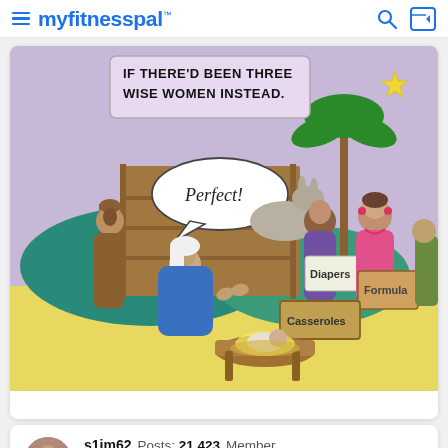myfitnesspal
[Figure (illustration): A humorous cartoon depicting a nativity scene with the caption 'If there'd been three wise women instead.' Mary says 'Perfect!' as women bring gifts of Diapers, Casseroles, and Formula.]
s1im62   Posts: 21,423   Member
December 2021